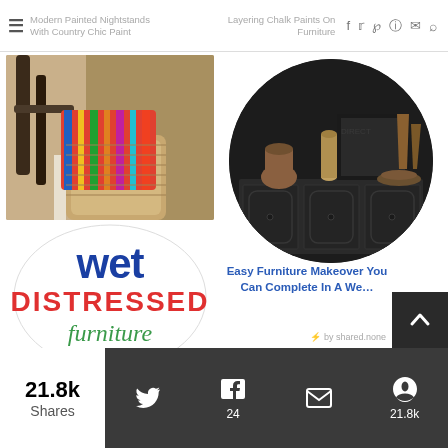Modern Painted Nightstands With Country Chic Paint | Layering Chalk Paints On Furniture
[Figure (photo): Photo of a painted furniture chair with colorful striped pillow and woven basket]
[Figure (illustration): Wet Distressed Furniture logo badge with text 'wet DISTRESSED furniture' in blue, red, and green]
This Wet Distress Painted Furniture Technique Is So Easy!
[Figure (photo): Circular photo of a dark painted furniture sideboard with vases and decorative items on top, on a black background]
Easy Furniture Makeover You Can Complete In A We...
⚡ by shared.none
21.8k Shares
[Figure (infographic): Share bar with Twitter, Facebook (24), email, and Pinterest (21.8k) icons on dark background]